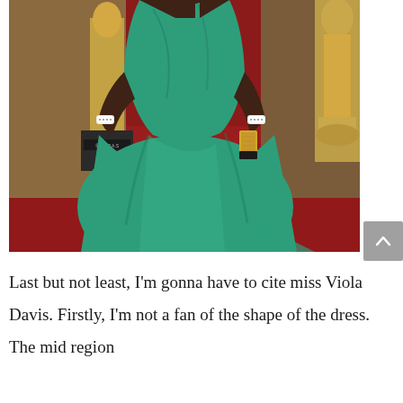[Figure (photo): A woman wearing a teal/green satin ball gown on a red carpet at what appears to be the Academy Awards, with a golden Oscar statue visible in the background. She is wearing white cuff bracelets and holding a small clutch purse.]
Last but not least, I'm gonna have to cite miss Viola Davis. Firstly, I'm not a fan of the shape of the dress. The mid region